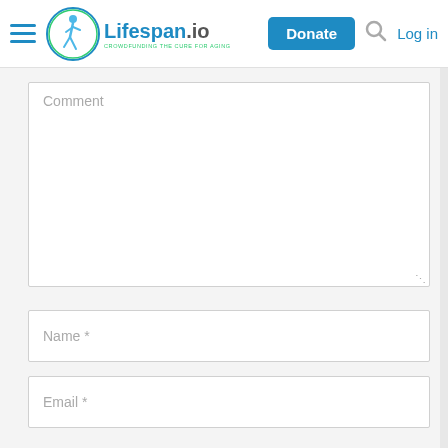Lifespan.io — Crowdfunding the Cure for Aging
Comment
Name *
Email *